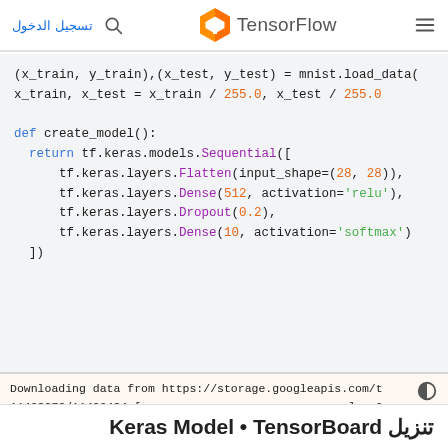تسجيل الدخول  🔍  TensorFlow  ≡
[Figure (screenshot): TensorFlow logo — orange TF icon followed by TensorFlow wordmark in gray]
(x_train, y_train),(x_test, y_test) = mnist.load_data(
x_train, x_test = x_train / 255.0, x_test / 255.0

def create_model():
  return tf.keras.models.Sequential([
      tf.keras.layers.Flatten(input_shape=(28, 28)),
      tf.keras.layers.Dense(512, activation='relu'),
      tf.keras.layers.Dropout(0.2),
      tf.keras.layers.Dense(10, activation='softmax')
  ])
Downloading data from https://storage.googleapis.com/t
11493376/11490434 [==============================] - 0
تنزيل Keras Model • TensorBoard